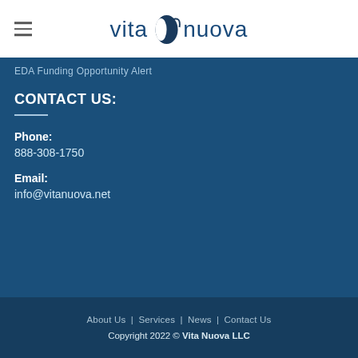vita nuova
EDA Funding Opportunity Alert
CONTACT US:
Phone:
888-308-1750
Email:
info@vitanuova.net
About Us | Services | News | Contact Us
Copyright 2022 © Vita Nuova LLC